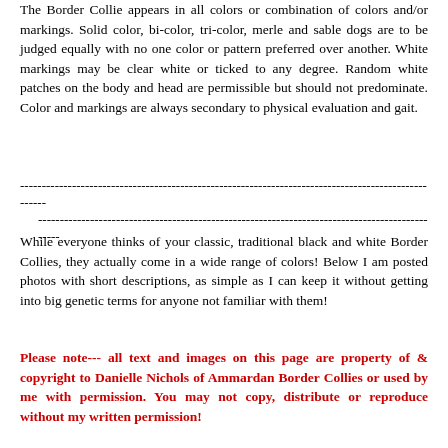The Border Collie appears in all colors or combination of colors and/or markings. Solid color, bi-color, tri-color, merle and sable dogs are to be judged equally with no one color or pattern preferred over another. White markings may be clear white or ticked to any degree. Random white patches on the body and head are permissible but should not predominate. Color and markings are always secondary to physical evaluation and gait.
---------------------------------------------------------------------------------------------------- -----------------------------------------------------------------------------------------------
While everyone thinks of your classic, traditional black and white Border Collies, they actually come in a wide range of colors! Below I am posted photos with short descriptions, as simple as I can keep it without getting into big genetic terms for anyone not familiar with them!
Please note--- all text and images on this page are property of & copyright to Danielle Nichols of Ammardan Border Collies or used by me with permission. You may not copy, distribute or reproduce without my written permission!